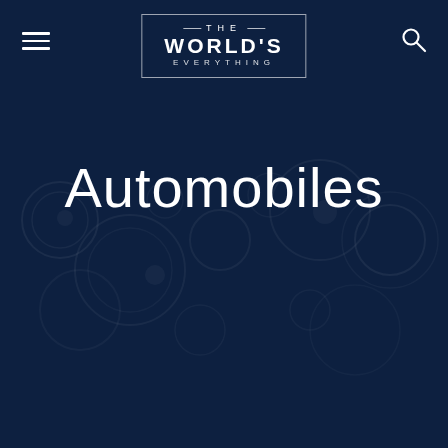THE WORLD'S EVERYTHING
Automobiles